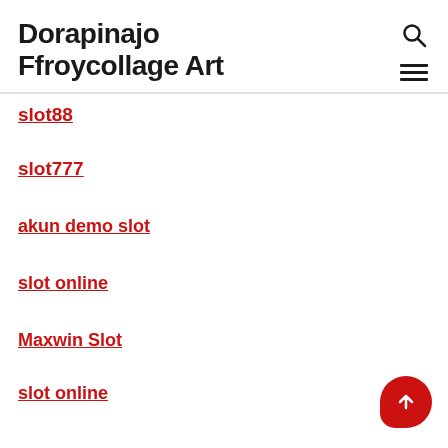Dorapinajo Ffroycollage Art
slot88
slot777
akun demo slot
slot online
Maxwin Slot
slot online